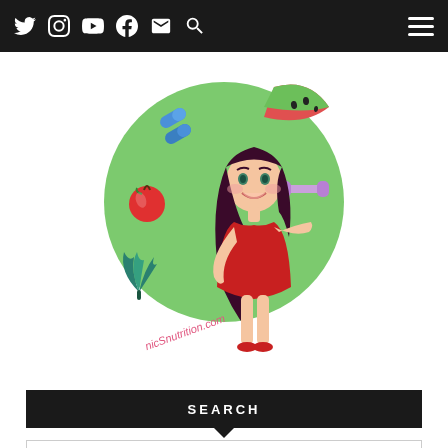Navigation bar with social icons: Twitter, Instagram, YouTube, Facebook, Email, Search, and hamburger menu
[Figure (illustration): Cartoon illustration of a woman with long dark hair wearing a red dress, standing in front of a green circle. Around her are food and health icons: a watermelon slice, an apple, green vegetables, dumbbells, and supplement capsules. Text on the illustration reads: nicSnutrition.com]
SEARCH
Search